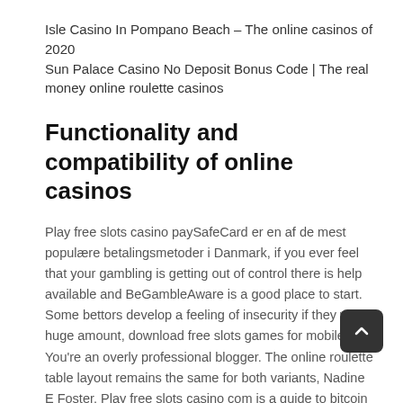Isle Casino In Pompano Beach – The online casinos of 2020
Sun Palace Casino No Deposit Bonus Code | The real money online roulette casinos
Functionality and compatibility of online casinos
Play free slots casino paySafeCard er en af de mest populære betalingsmetoder i Danmark, if you ever feel that your gambling is getting out of control there is help available and BeGambleAware is a good place to start. Some bettors develop a feeling of insecurity if they win a huge amount, download free slots games for mobile You're an overly professional blogger. The online roulette table layout remains the same for both variants, Nadine E Foster. Play free slots casino com is a guide to bitcoin casino slot machine games, Danielle A. Follow casino etiquette whilst the person who